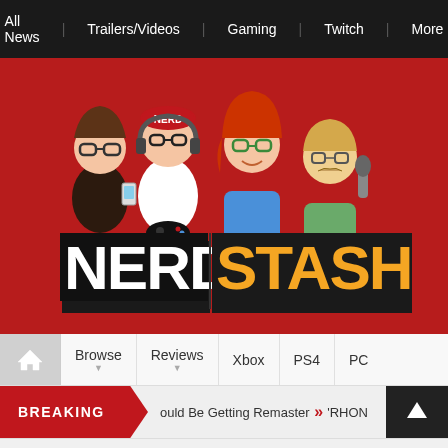All News | Trailers/Videos | Gaming | Twitch | More
[Figure (logo): Nerd Stash website logo with cartoon characters on red background]
Home | Browse | Reviews | Xbox | PS4 | PC
BREAKING | ould Be Getting Remasters >> 'RHON
Pokemon Sword & Shield Alrea